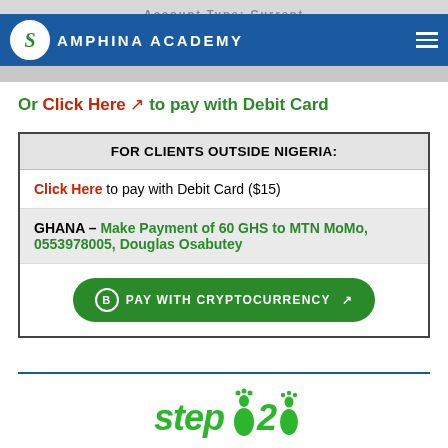Account Type: Current
[Figure (logo): Samphina Academy logo with blue header bar, circular S logo, and hamburger menu]
Or Click Here ↗ to pay with Debit Card
| FOR CLIENTS OUTSIDE NIGERIA: |
| --- |
| Click Here to pay with Debit Card ($15) |
| GHANA – Make Payment of 60 GHS to MTN MoMo, 0553978005, Douglas Osabutey |
| PAY WITH CRYPTOCURRENCY ↗ |
[Figure (logo): Step 2 footprint logo in green at bottom of page]